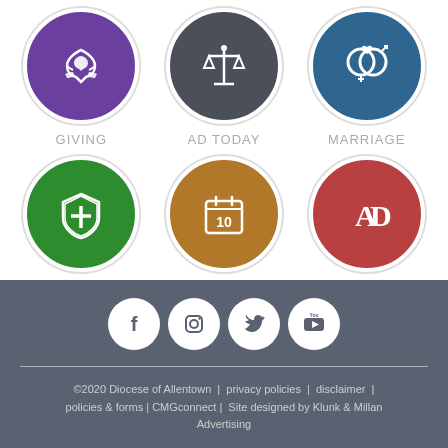[Figure (infographic): Six icon buttons in a 3x2 grid: Giving (purple circle with heart/hands), AD Today (dark circle with scales), Marriage (blue circle with interlocked rings), Youth Protection (green circle with shield and cross), Calendar (brown circle with calendar showing 10), AD Times (red circle with AD letters)]
[Figure (infographic): Four social media icons in white circles on gray footer bar: Facebook, Instagram, Twitter, YouTube]
©2020 Diocese of Allentown  |  privacy policies  |  disclaimer  |  policies & forms | CMGconnect |  Site designed by Klunk & Millan Advertising